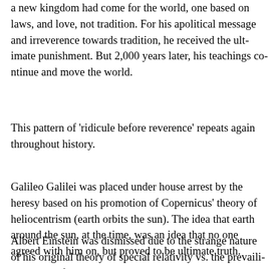a new kingdom had come for the world, one based on laws, and love, not tradition. For his apolitical message and irreverence towards tradition, he received the ultimate punishment. But 2,000 years later, his teachings continue to inspire and move the world.
This pattern of 'ridicule before reverence' repeats again and again throughout history.
Galileo Galilei was placed under house arrest by the church for heresy based on his promotion of Copernicus' theory of heliocentrism (earth orbits the sun). The idea that earth travels around the sun, at the time, was an idea that no one would agree with him on, but proved to be ultimate truth.
Albert Einstein was dismissed due to the strange nature of his original theory of special relativity vs. the prevailing theory of 'ether' in physics. More data would prove Einstein right.